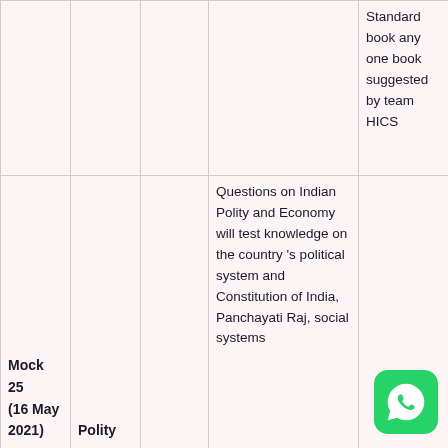|  |  |  | Description | Reference |
| --- | --- | --- | --- | --- |
|  |  |  | Standard book any one book suggested by team HICS |  |
| Mock 25 (16 May 2021) | Polity |  | Questions on Indian Polity and Economy will test knowledge on the country's political system and Constitution of India, Panchayati Raj, social systems |  |